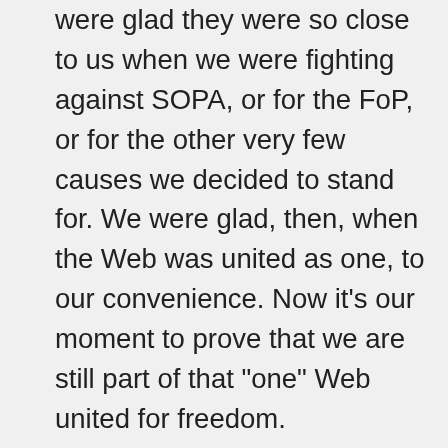were glad they were so close to us when we were fighting against SOPA, or for the FoP, or for the other very few causes we decided to stand for. We were glad, then, when the Web was united as one, to our convenience. Now it's our moment to prove that we are still part of that "one" Web united for freedom. Gradzeichen is right: Bassel isn't one of our most prolific contributors, at least with this user account. I thought we all knew this. Nevertheless, right or wrong it might be, Bassel is wherever described as involved with Wikipedia, and now everywhere they are saying he is a Wikipedian. Maybe he contributed